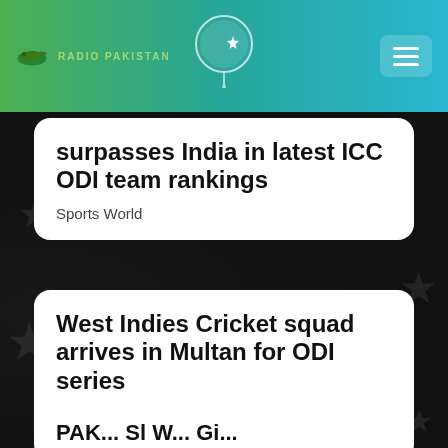Radio Pakistan
surpasses India in latest ICC ODI team rankings
Sports World
West Indies Cricket squad arrives in Multan for ODI series
Sports World
PAK...